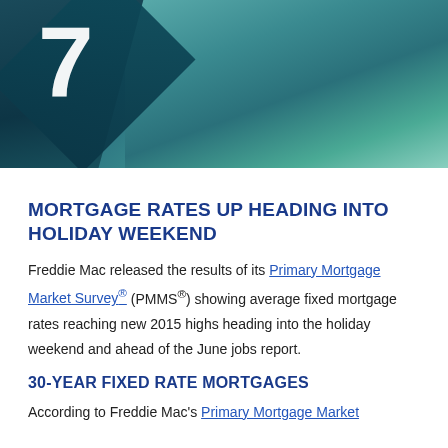[Figure (photo): Hero image showing a house with a teal diamond shape overlay and large number/percentage in the foreground]
MORTGAGE RATES UP HEADING INTO HOLIDAY WEEKEND
Freddie Mac released the results of its Primary Mortgage Market Survey® (PMMS®) showing average fixed mortgage rates reaching new 2015 highs heading into the holiday weekend and ahead of the June jobs report.
30-YEAR FIXED RATE MORTGAGES
According to Freddie Mac's Primary Mortgage Market